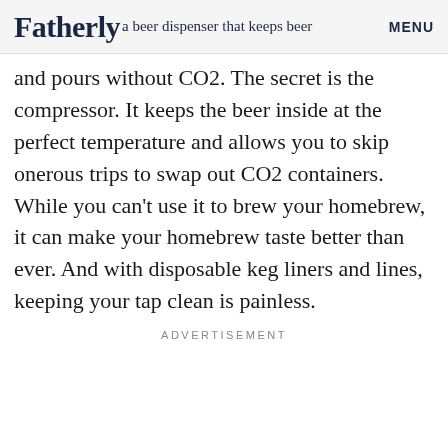Fatherly a beer dispenser that keeps beer MENU
and pours without CO2. The secret is the compressor. It keeps the beer inside at the perfect temperature and allows you to skip onerous trips to swap out CO2 containers. While you can't use it to brew your homebrew, it can make your homebrew taste better than ever. And with disposable keg liners and lines, keeping your tap clean is painless.
ADVERTISEMENT